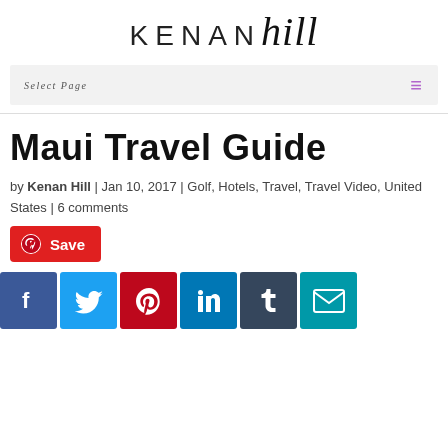KENAN hill
Select Page
Maui Travel Guide
by Kenan Hill | Jan 10, 2017 | Golf, Hotels, Travel, Travel Video, United States | 6 comments
[Figure (other): Save button with Pinterest icon]
[Figure (other): Social sharing buttons: Facebook, Twitter, Pinterest, LinkedIn, Tumblr, Email]